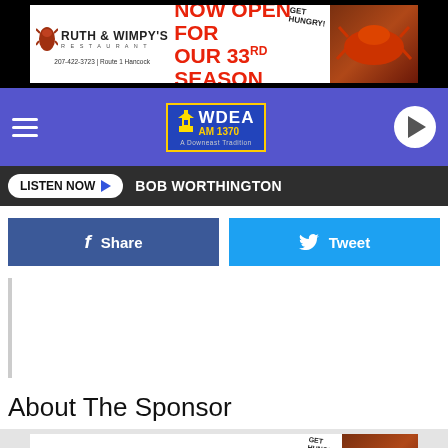[Figure (other): Ruth & Wimpy's Restaurant ad banner – NOW OPEN FOR OUR 33RD SEASON – 207-422-3723 | Route 1 Hancock – with lobster image and GET HUNGRY text]
[Figure (logo): WDEA AM 1370 radio station navigation bar with hamburger menu, lighthouse logo, and play button]
LISTEN NOW  BOB WORTHINGTON
Share  Tweet
[Figure (other): Empty content block with left border]
About The Sponsor
[Figure (other): Ruth & Wimpy's Restaurant ad banner – NOW OPEN FOR OUR 33RD SEASON – 207-422-3723 | Route 1 Hancock – with lobster image and GET HUNGRY text]